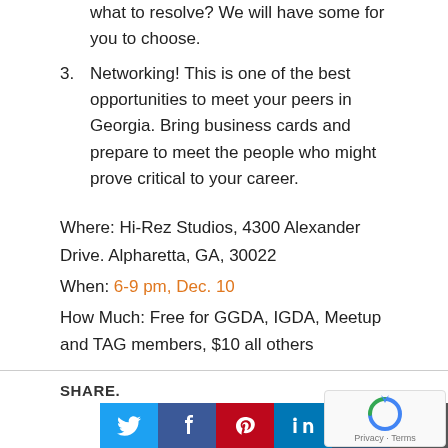(truncated top) what to resolve? We will have some for you to choose.
3. Networking! This is one of the best opportunities to meet your peers in Georgia. Bring business cards and prepare to meet the people who might prove critical to your career.
Where: Hi-Rez Studios, 4300 Alexander Drive. Alpharetta, GA, 30022
When: 6-9 pm, Dec. 10
How Much: Free for GGDA, IGDA, Meetup and TAG members, $10 all others
SHARE.
[Figure (other): Social share buttons: Twitter, Facebook, Pinterest, LinkedIn, Tumblr, Email]